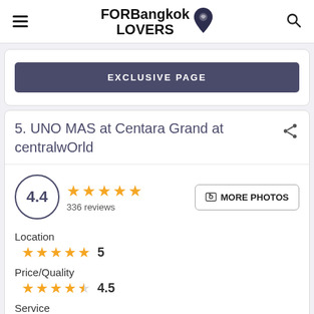FORBangkok LOVERS
EXCLUSIVE PAGE
5. UNO MAS at Centara Grand at centralwOrld
4.4 — 336 reviews — MORE PHOTOS
Location ★★★★★ 5
Price/Quality ★★★★½ 4.5
Service